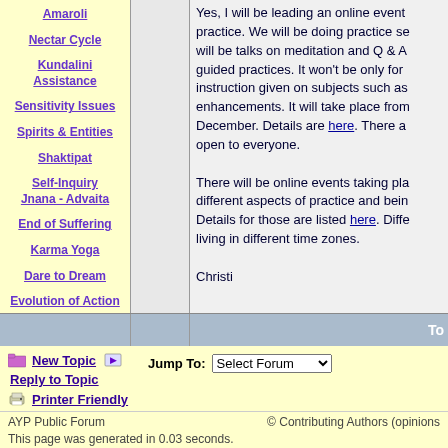Amaroli
Nectar Cycle
Kundalini Assistance
Sensitivity Issues
Spirits & Entities
Shaktipat
Self-Inquiry Jnana - Advaita
End of Suffering
Karma Yoga
Dare to Dream
Evolution of Action
Prayer & Healing
Yoga for Children
Ayurveda
Summary of Practices
Yes, I will be leading an online event... practice. We will be doing practice se... will be talks on meditation and Q & A... guided practices. It won't be only for... instruction given on subjects such as... enhancements. It will take place from... December. Details are here. There a... open to everyone.

There will be online events taking pla... different aspects of practice and bein... Details for those are listed here. Diffe... living in different time zones.

Christi
To
New Topic  Reply to Topic  Printer Friendly
Jump To:  Select Forum
AYP Public Forum   © Contributing Authors (opinions...
This page was generated in 0.03 seconds.